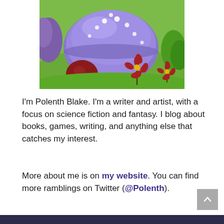[Figure (illustration): A cartoon/CGI style mushroom house with a large blue-purple glassy cap with white bumps, a plaid/checkered stalk, surrounded by green hills, dark red flowers with yellow centers, and a purple bush in the background.]
I'm Polenth Blake. I'm a writer and artist, with a focus on science fiction and fantasy. I blog about books, games, writing, and anything else that catches my interest.
More about me is on my website. You can find more ramblings on Twitter (@Polenth).